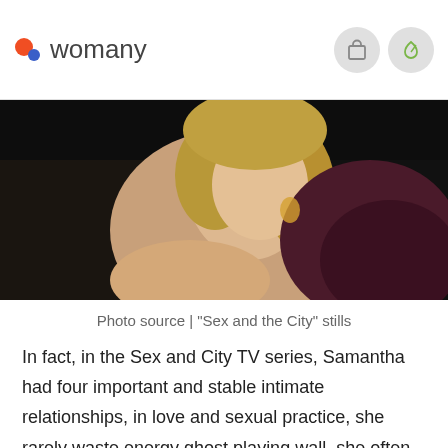womany
[Figure (photo): A blonde woman wearing a spaghetti-strap dress and a dark purple fur stole, photographed in a dim setting — a still from 'Sex and the City']
Photo source | "Sex and the City" stills
In fact, in the Sex and City TV series, Samantha had four important and stable intimate relationships, in love and sexual practice, she rarely waste energy ghost playing wall, she often directly with her partner to communicate their relationship desire and sexual desires. When the